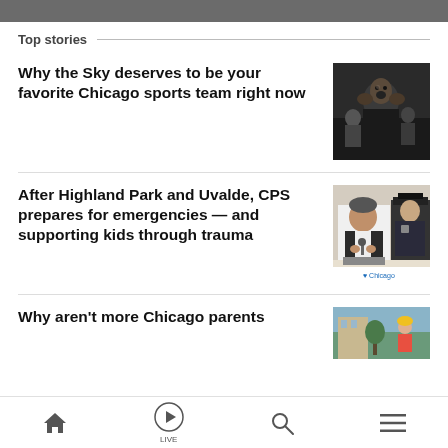Top stories
Why the Sky deserves to be your favorite Chicago sports team right now
[Figure (photo): Person shouting/cheering with hands cupped around mouth, crowd in background]
After Highland Park and Uvalde, CPS prepares for emergencies — and supporting kids through trauma
[Figure (photo): Man speaking at podium with Chicago logo, police officer in background]
Why aren't more Chicago parents
[Figure (photo): Partial photo visible, outdoor scene]
Home | LIVE | Search | Menu